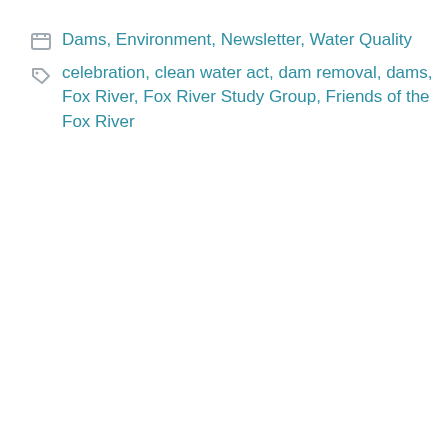Dams, Environment, Newsletter, Water Quality
celebration, clean water act, dam removal, dams, Fox River, Fox River Study Group, Friends of the Fox River